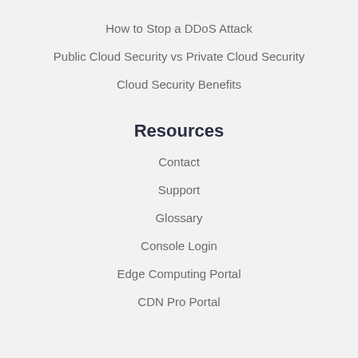How to Stop a DDoS Attack
Public Cloud Security vs Private Cloud Security
Cloud Security Benefits
Resources
Contact
Support
Glossary
Console Login
Edge Computing Portal
CDN Pro Portal